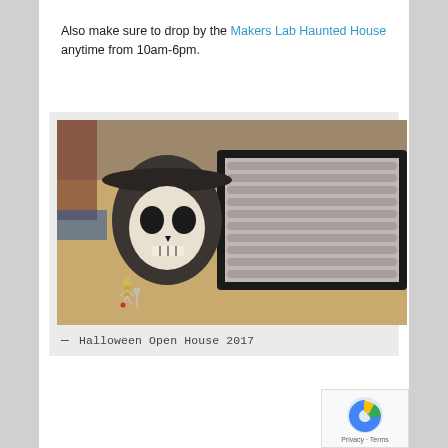Also make sure to drop by the Makers Lab Haunted House anytime from 10am-6pm.
[Figure (photo): Photo of a 3D-printed skull wearing a hat on a wooden table, alongside a small skeleton figure and a tray of colorful beads/supplies in the background.]
— Halloween Open House 2017